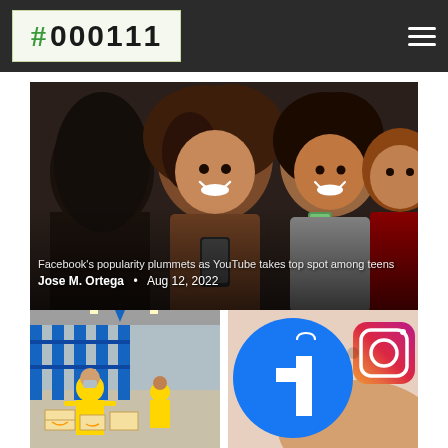#000111
[Figure (photo): Group of teenagers looking at smartphones and smiling]
Facebook's popularity plummets as YouTube takes top spot among teens
Jose M. Ortega • Aug 12, 2022
[Figure (photo): Workers in yellow vests at an Amazon warehouse packing boxes]
[Figure (photo): Facebook and Instagram app icons/logos on a phone]